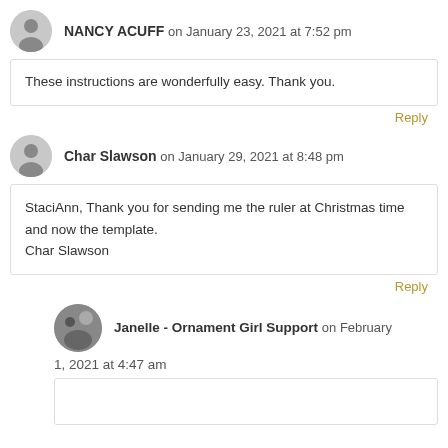NANCY ACUFF on January 23, 2021 at 7:52 pm
These instructions are wonderfully easy. Thank you.
Reply
Char Slawson on January 29, 2021 at 8:48 pm
StaciAnn, Thank you for sending me the ruler at Christmas time and now the template.
Char Slawson
Reply
Janelle - Ornament Girl Support on February 1, 2021 at 4:47 am